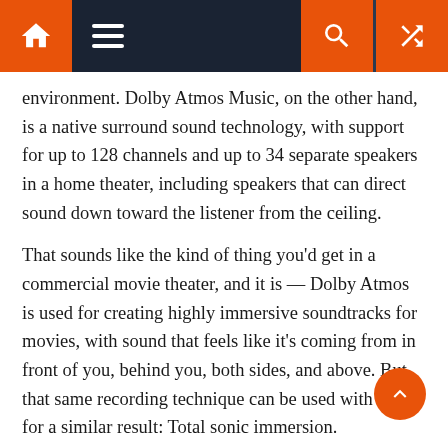[Navigation bar with home, menu, search, and shuffle icons]
environment. Dolby Atmos Music, on the other hand, is a native surround sound technology, with support for up to 128 channels and up to 34 separate speakers in a home theater, including speakers that can direct sound down toward the listener from the ceiling.
That sounds like the kind of thing you'd get in a commercial movie theater, and it is — Dolby Atmos is used for creating highly immersive soundtracks for movies, with sound that feels like it's coming from in front of you, behind you, both sides, and above. But that same recording technique can be used with music for a similar result: Total sonic immersion.
It would be easy to dismiss Dolby Atmos Music as simply a way to play normal tracks over a surround sound setup. After all, every home theater receiver can take a stereo source like vinyl, CD, or streaming media and run it through circuits and